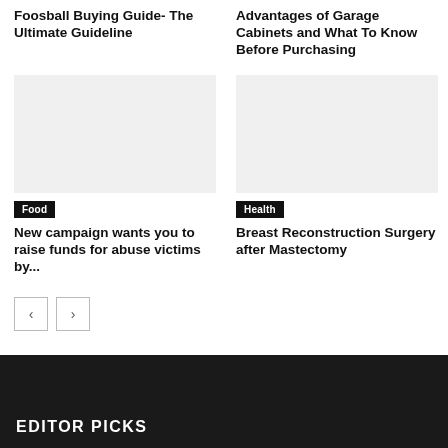Foosball Buying Guide- The Ultimate Guideline
Advantages of Garage Cabinets and What To Know Before Purchasing
[Figure (photo): Image placeholder for food article]
[Figure (photo): Image placeholder for health article]
Food
Health
New campaign wants you to raise funds for abuse victims by...
Breast Reconstruction Surgery after Mastectomy
< >
EDITOR PICKS